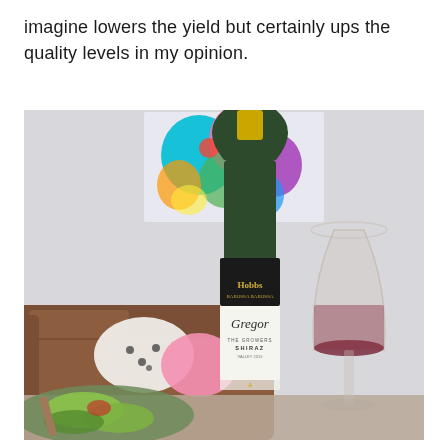imagine lowers the yield but certainly ups the quality levels in my opinion.
[Figure (photo): A bottle of Hobbs Gregor Barossa Shiraz wine with a gold capsule and white label showing 'Gregor' in script, standing next to a large wine glass containing red wine, set on a table with a green salad in the foreground and a colorful abstract painting and a brown leather sofa with cushions in the background.]